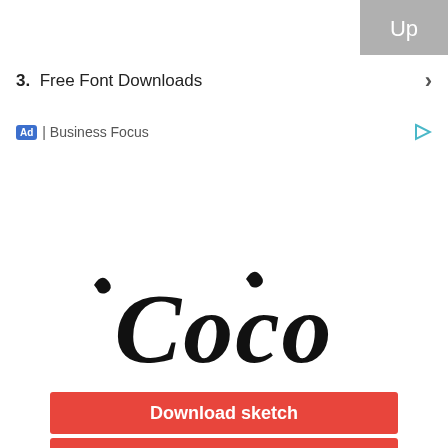[Figure (screenshot): Gray 'Up' navigation button in upper right corner]
3.  Free Font Downloads  ›
Ad | Business Focus
[Figure (illustration): Decorative script font rendering of the word 'Coco' in large black cursive lettering with swirl accents, between two dashed red horizontal lines]
Download sketch
Print